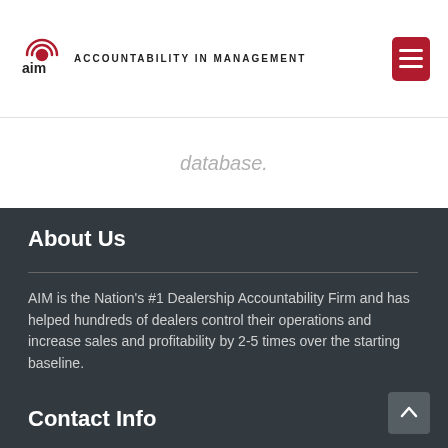AIM ACCOUNTABILITY IN MANAGEMENT
database.
About Us
AIM is the Nation's #1 Dealership Accountability Firm and has helped hundreds of dealers control their operations and increase sales and profitability by 2-5 times over the starting baseline.
Contact Info